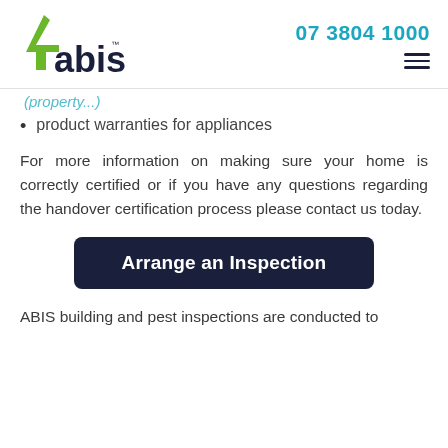[Figure (logo): 4abis logo with green and dark navy text, phone number 07 3804 1000 in teal, hamburger menu icon]
(truncated, partially visible)
product warranties for appliances
For more information on making sure your home is correctly certified or if you have any questions regarding the handover certification process please contact us today.
[Figure (other): Dark navy button with white text: Arrange an Inspection]
ABIS building and pest inspections are conducted to